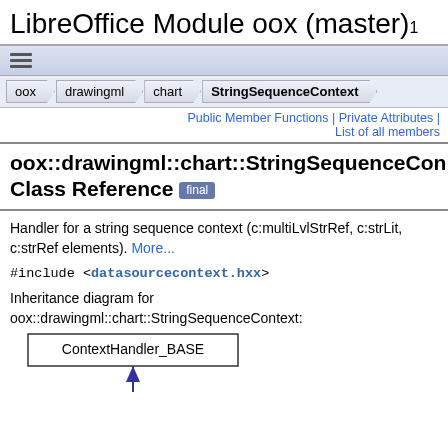LibreOffice Module oox (master) 1
[Figure (screenshot): Navigation menu bar with hamburger icon]
[Figure (screenshot): Breadcrumb navigation: oox > drawingml > chart > StringSequenceContext]
Public Member Functions | Private Attributes | List of all members
oox::drawingml::chart::StringSequenceCon Class Reference [final]
Handler for a string sequence context (c:multiLvlStrRef, c:strLit, c:strRef elements). More...
#include <datasourcecontext.hxx>
Inheritance diagram for oox::drawingml::chart::StringSequenceContext:
[Figure (engineering-diagram): Inheritance diagram showing ContextHandler_BASE with upward arrow pointing to StringSequenceContext]